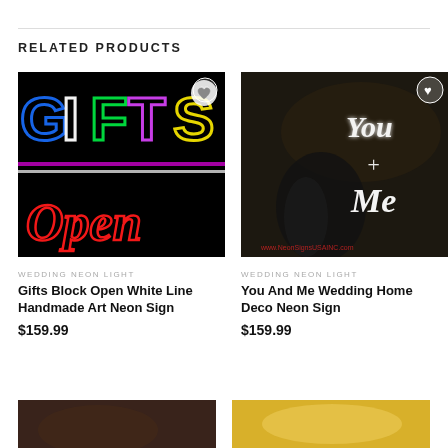RELATED PRODUCTS
[Figure (photo): Neon sign showing GIFTS in colorful block letters and Open in red cursive on black background]
WEDDING NEON LIGHT
Gifts Block Open White Line Handmade Art Neon Sign
$159.99
[Figure (photo): Wedding couple with You + Me neon sign in white script on dark background, www.NeonSignsUSAINC.com watermark]
WEDDING NEON LIGHT
You And Me Wedding Home Deco Neon Sign
$159.99
[Figure (photo): Partial image at bottom left, cropped]
[Figure (photo): Partial image at bottom right, cropped]